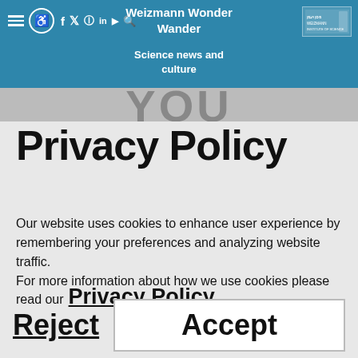Weizmann Wonder Wander | Science news and culture
Privacy Policy
Our website uses cookies to enhance user experience by remembering your preferences and analyzing website traffic.
For more information about how we use cookies please read our Privacy Policy
Reject  Accept